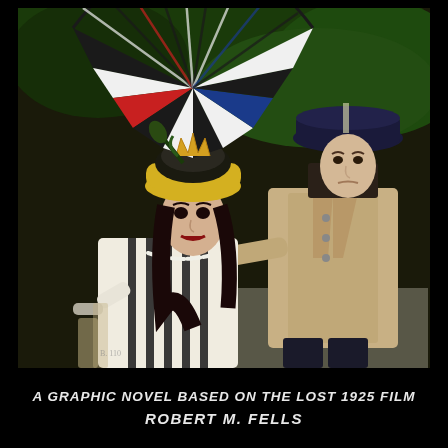[Figure (illustration): Digitally illustrated / stylized image of two figures: a woman in an elaborate black-and-white striped fan-shaped hat with a yellow brim and a pink flower, wearing a white outfit with pearl necklace, and a man dressed as Napoleon Bonaparte in a beige military coat and dark bicorne hat. Green foliage in the background. The art style is a painterly graphic-novel illustration.]
A GRAPHIC NOVEL BASED ON THE LOST 1925 FILM
ROBERT M. FELLS